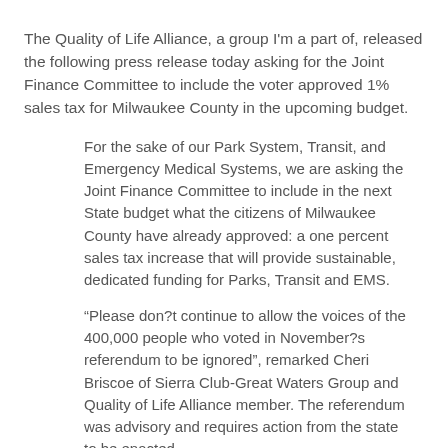The Quality of Life Alliance, a group I'm a part of, released the following press release today asking for the Joint Finance Committee to include the voter approved 1% sales tax for Milwaukee County in the upcoming budget.
For the sake of our Park System, Transit, and Emergency Medical Systems, we are asking the Joint Finance Committee to include in the next State budget what the citizens of Milwaukee County have already approved: a one percent sales tax increase that will provide sustainable, dedicated funding for Parks, Transit and EMS.
“Please don?t continue to allow the voices of the 400,000 people who voted in November?s referendum to be ignored”, remarked Cheri Briscoe of Sierra Club-Great Waters Group and Quality of Life Alliance member. The referendum was advisory and requires action from the state to be enacted.